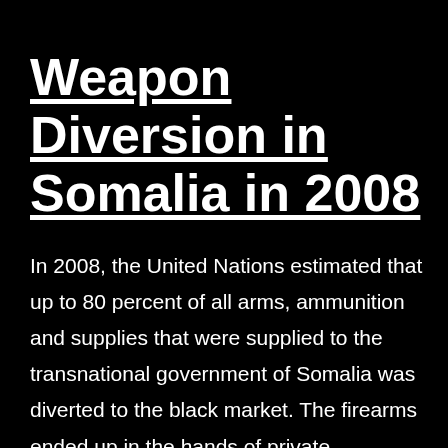Weapon Diversion in Somalia in 2008
In 2008, the United Nations estimated that up to 80 percent of all arms, ammunition and supplies that were supplied to the transnational government of Somalia was diverted to the black market. The firearms ended up in the hands of private individuals, opposition groups and arms traffickers.